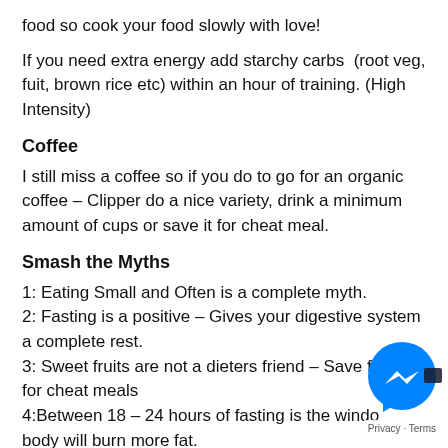food so cook your food slowly with love!
If you need extra energy add starchy carbs (root veg, fuit, brown rice etc) within an hour of training. (High Intensity)
Coffee
I still miss a coffee so if you do to go for an organic coffee – Clipper do a nice variety, drink a minimum amount of cups or save it for cheat meal.
Smash the Myths
1: Eating Small and Often is a complete myth.
2: Fasting is a positive – Gives your digestive system a complete rest.
3: Sweet fruits are not a dieters friend – Save fruits for cheat meals
4:Between 18 – 24 hours of fasting is the window body will burn more fat.
5:You have to drink a minimum of 4 litres of water for a